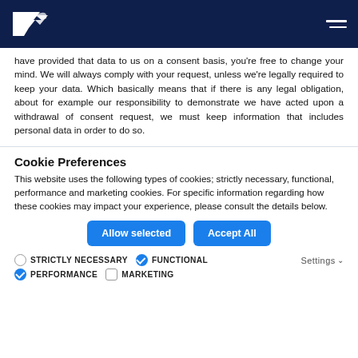[Brex logo] [hamburger menu]
have provided that data to us on a consent basis, you're free to change your mind. We will always comply with your request, unless we're legally required to keep your data. Which basically means that if there is any legal obligation, about for example our responsibility to demonstrate we have acted upon a withdrawal of consent request, we must keep information that includes personal data in order to do so.
Cookie Preferences
This website uses the following types of cookies; strictly necessary, functional, performance and marketing cookies. For specific information regarding how these cookies may impact your experience, please consult the details below.
Allow selected | Accept All
STRICTLY NECESSARY  FUNCTIONAL  Settings  PERFORMANCE  MARKETING